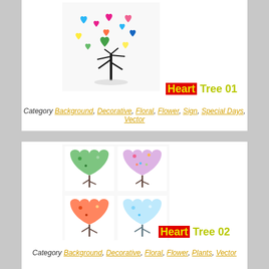[Figure (illustration): Colorful tree made of hearts in various colors (pink, blue, yellow, green, orange, magenta) on a light background]
Heart Tree 01
Category Background, Decorative, Floral, Flower, Sign, Special Days, Vector
[Figure (illustration): Four seasonal heart-shaped trees: spring green, colorful floral, autumn orange, winter blue]
Heart Tree 02
Category Background, Decorative, Floral, Flower, Plants, Vector